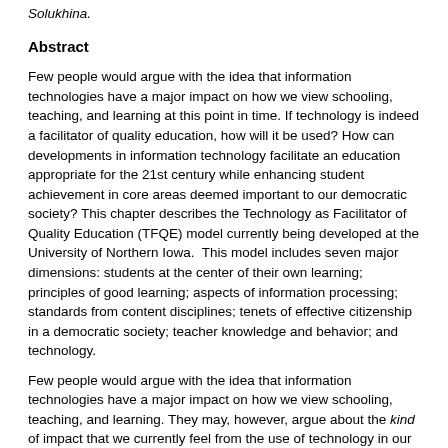Solukhina.
Abstract
Few people would argue with the idea that information technologies have a major impact on how we view schooling, teaching, and learning at this point in time. If technology is indeed a facilitator of quality education, how will it be used? How can developments in information technology facilitate an education appropriate for the 21st century while enhancing student achievement in core areas deemed important to our democratic society? This chapter describes the Technology as Facilitator of Quality Education (TFQE) model currently being developed at the University of Northern Iowa.  This model includes seven major dimensions: students at the center of their own learning; principles of good learning; aspects of information processing; standards from content disciplines; tenets of effective citizenship in a democratic society; teacher knowledge and behavior; and technology.
Few people would argue with the idea that information technologies have a major impact on how we view schooling, teaching, and learning. They may, however, argue about the kind of impact that we currently feel from the use of technology in our classrooms. Opinions range from those who see technology as the driving force for all that will be good about education in the future, to those who see information technology as a force that will destroy education as we